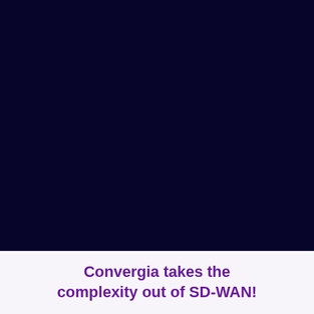[Figure (illustration): Dark navy/near-black background covering the upper portion of the page, likely a background image or graphic for a marketing/branding slide.]
Convergia takes the complexity out of SD-WAN!